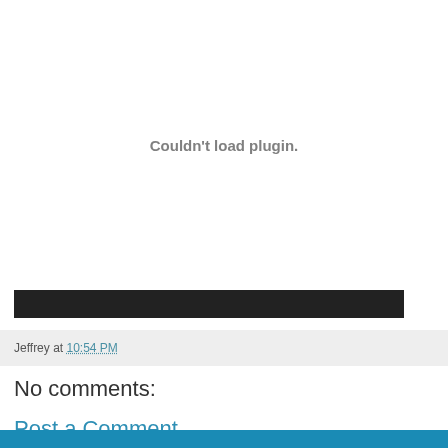[Figure (other): Plugin placeholder area showing 'Couldn't load plugin.' error message in gray text on white background]
[Figure (other): Black progress/control bar]
Jeffrey at 10:54 PM
No comments:
Post a Comment
[Figure (other): Blue comment form box at bottom]